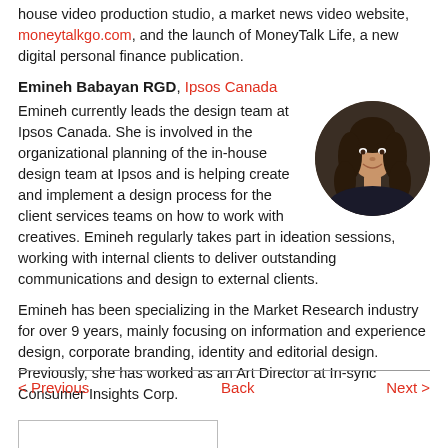house video production studio, a market news video website, moneytalkgo.com, and the launch of MoneyTalk Life, a new digital personal finance publication.
Emineh Babayan RGD, Ipsos Canada
Emineh currently leads the design team at Ipsos Canada. She is involved in the organizational planning of the in-house design team at Ipsos and is helping create and implement a design process for the client services teams on how to work with creatives. Emineh regularly takes part in ideation sessions, working with internal clients to deliver outstanding communications and design to external clients.
[Figure (photo): Circular headshot photo of Emineh Babayan, a woman with long dark brown hair, smiling, against a dark background.]
Emineh has been specializing in the Market Research industry for over 9 years, mainly focusing on information and experience design, corporate branding, identity and editorial design. Previously, she has worked as an Art Director at In-sync Consumer Insights Corp.
< Previous   Back   Next >